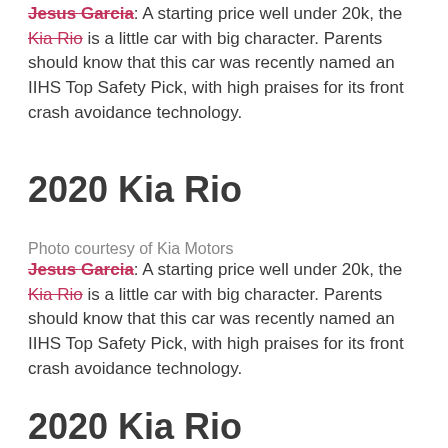Jesus Garcia: A starting price well under 20k, the Kia Rio is a little car with big character. Parents should know that this car was recently named an IIHS Top Safety Pick, with high praises for its front crash avoidance technology.
2020 Kia Rio
Photo courtesy of Kia Motors
Jesus Garcia: A starting price well under 20k, the Kia Rio is a little car with big character. Parents should know that this car was recently named an IIHS Top Safety Pick, with high praises for its front crash avoidance technology.
2020 Kia Rio